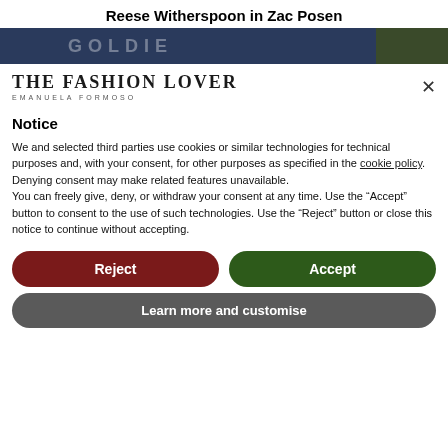Reese Witherspoon in Zac Posen
[Figure (photo): Banner image strip showing a dark blue background with partial text/logo on left and a small green-toned photo thumbnail on the right]
THE FASHION LOVER
EMANUELA FORMOSO
Notice
We and selected third parties use cookies or similar technologies for technical purposes and, with your consent, for other purposes as specified in the cookie policy. Denying consent may make related features unavailable.
You can freely give, deny, or withdraw your consent at any time. Use the “Accept” button to consent to the use of such technologies. Use the “Reject” button or close this notice to continue without accepting.
Reject
Accept
Learn more and customise